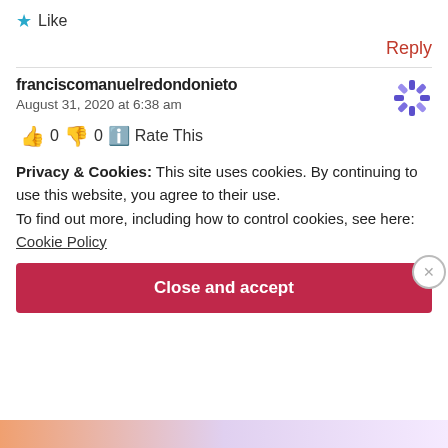★ Like
Reply
franciscomanuelredondonieto
August 31, 2020 at 6:38 am
👍 0 👎 0 ℹ️ Rate This
Privacy & Cookies: This site uses cookies. By continuing to use this website, you agree to their use.
To find out more, including how to control cookies, see here:
Cookie Policy
Close and accept